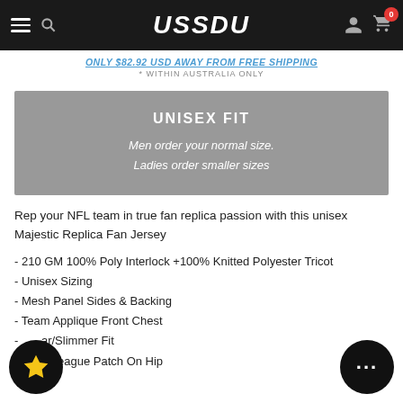USSDU
ONLY $82.92 USD AWAY FROM FREE SHIPPING
* WITHIN AUSTRALIA ONLY
[Figure (infographic): Gray banner with white text: UNISEX FIT. Men order your normal size. Ladies order smaller sizes]
Rep your NFL team in true fan replica passion with this unisex Majestic Replica Fan Jersey
- 210 GM 100% Poly Interlock +100% Knitted Polyester Tricot
- Unisex Sizing
- Mesh Panel Sides & Backing
- Team Applique Front Chest
- Regular/Slimmer Fit
- Official League Patch On Hip